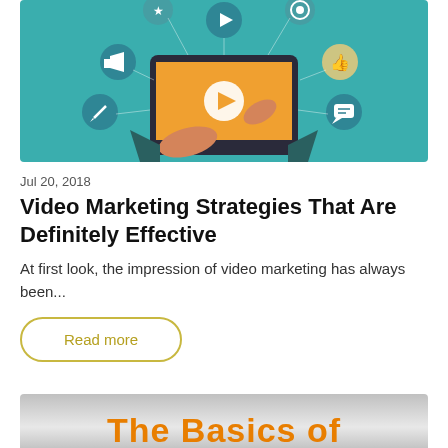[Figure (illustration): Illustration of hands holding a tablet with a video play button, surrounded by social media and marketing icons on a teal background]
Jul 20, 2018
Video Marketing Strategies That Are Definitely Effective
At first look, the impression of video marketing has always been...
Read more
[Figure (illustration): Gray gradient background with orange bold text reading 'The Basics of']